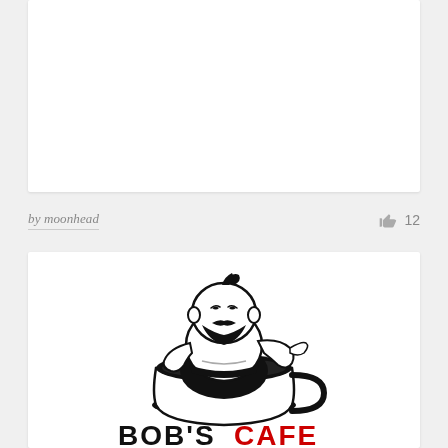[Figure (illustration): White card area at top — blank white panel]
by moonhead
12
[Figure (logo): Logo illustration: a plump bearded genie-like man with a topknot sitting in a large coffee cup, pointing with one hand. Below the figure is bold stylized text reading 'BOB'S CAFE' in black with red accent letters, partially cropped.]